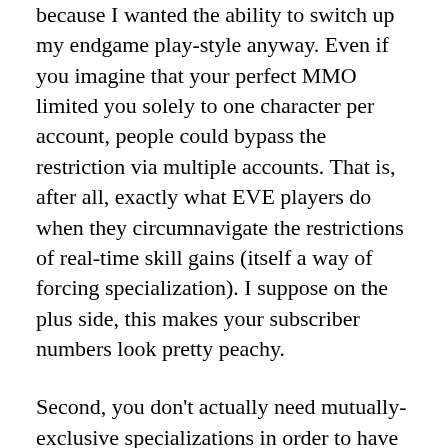because I wanted the ability to switch up my endgame play-style anyway. Even if you imagine that your perfect MMO limited you solely to one character per account, people could bypass the restriction via multiple accounts. That is, after all, exactly what EVE players do when they circumnavigate the restrictions of real-time skill gains (itself a way of forcing specialization). I suppose on the plus side, this makes your subscriber numbers look pretty peachy.
Second, you don't actually need mutually-exclusive specializations in order to have a robust economy, as Keen claims. Within the beginning chapters of every Economics 101 textbook is an explanation of comparative advantage. The simple version is that two villages can produce both rice and fish, but at differing ratios: Island A can produce 10 units of rice or 5 units of fish in a day, and